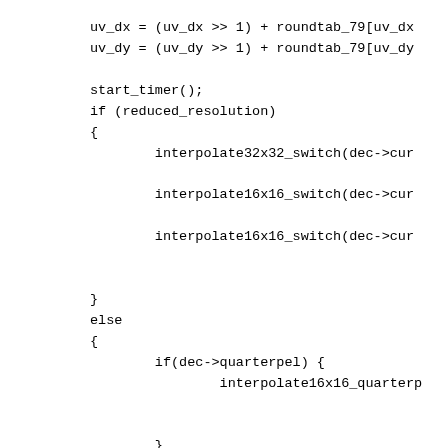uv_dx = (uv_dx >> 1) + roundtab_79[uv_dx
uv_dy = (uv_dy >> 1) + roundtab_79[uv_dy

start_timer();
if (reduced_resolution)
{
        interpolate32x32_switch(dec->cur

        interpolate16x16_switch(dec->cur

        interpolate16x16_switch(dec->cur


}
else
{
        if(dec->quarterpel) {
                interpolate16x16_quarterp


        }
        else {
                interpolate16x16_switch(d

        }

        interpolate8x8_switch(dec->cur.u,

        interpolate8x8_switch(dec->cur.v,